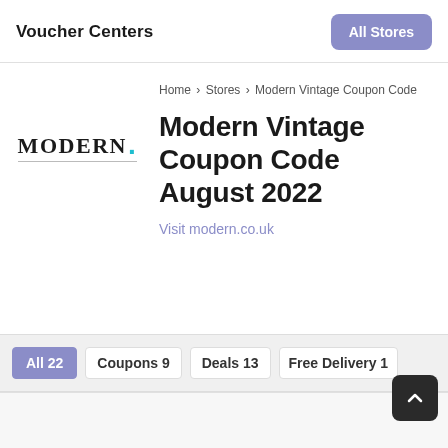Voucher Centers
All Stores
Home > Stores > Modern Vintage Coupon Code
Modern Vintage Coupon Code August 2022
[Figure (logo): MODERN. brand logo with teal dot]
Visit modern.co.uk
All 22
Coupons 9
Deals 13
Free Delivery 1